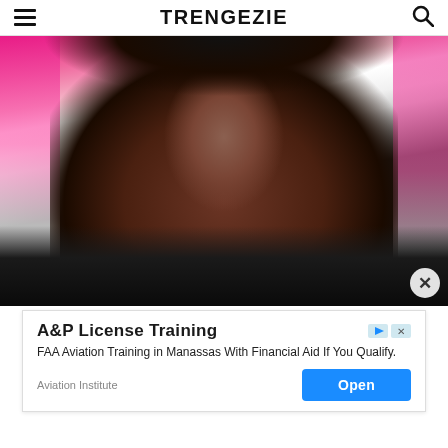TRENGEZIE
[Figure (photo): Close-up selfie of a Black woman with long braided hair and large hoop earrings, wearing a black jacket, smiling at camera. Background shows pink and white decorative elements.]
A&P License Training
FAA Aviation Training in Manassas With Financial Aid If You Qualify.
Aviation Institute
Open